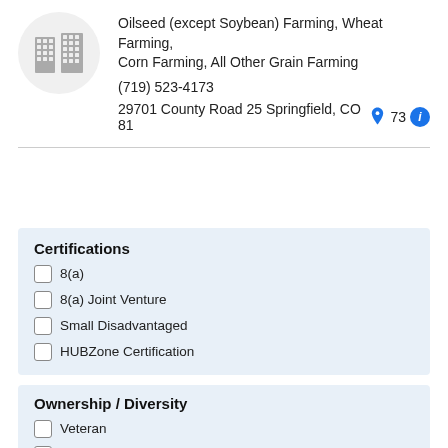[Figure (logo): Building/company logo icon showing two grid-style building icons inside a light gray circle]
Oilseed (except Soybean) Farming, Wheat Farming, Corn Farming, All Other Grain Farming
(719) 523-4173
29701 County Road 25 Springfield, CO 81073
Certifications
8(a)
8(a) Joint Venture
Small Disadvantaged
HUBZone Certification
Ownership / Diversity
Veteran